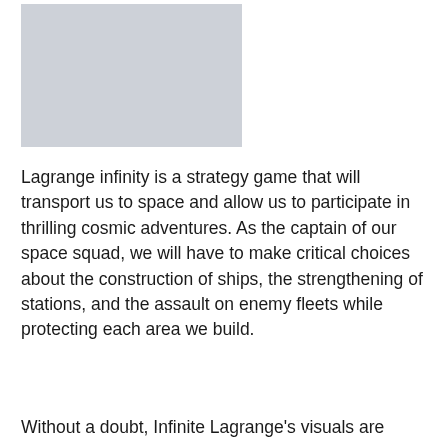[Figure (illustration): Gray placeholder image rectangle]
Lagrange infinity is a strategy game that will transport us to space and allow us to participate in thrilling cosmic adventures. As the captain of our space squad, we will have to make critical choices about the construction of ships, the strengthening of stations, and the assault on enemy fleets while protecting each area we build.
Without a doubt, Infinite Lagrange's visuals are